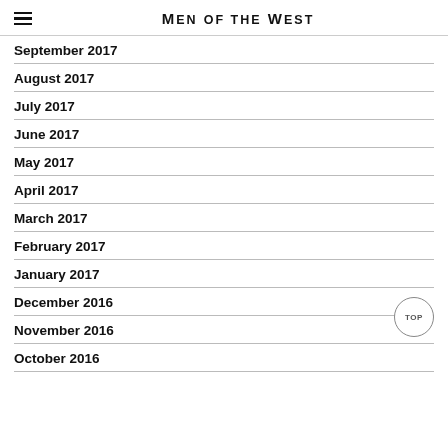MEN OF THE WEST
September 2017
August 2017
July 2017
June 2017
May 2017
April 2017
March 2017
February 2017
January 2017
December 2016
November 2016
October 2016